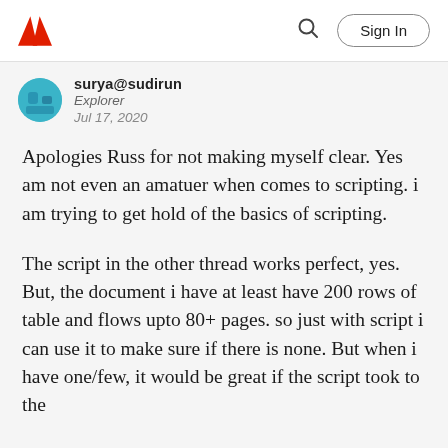Adobe | Sign In
surya@sudirun
Explorer
Jul 17, 2020
Apologies Russ for not making myself clear. Yes am not even an amatuer when comes to scripting. i am trying to get hold of the basics of scripting.
The script in the other thread works perfect, yes. But, the document i have at least have 200 rows of table and flows upto 80+ pages. so just with script i can use it to make sure if there is none. But when i have one/few, it would be great if the script took to the